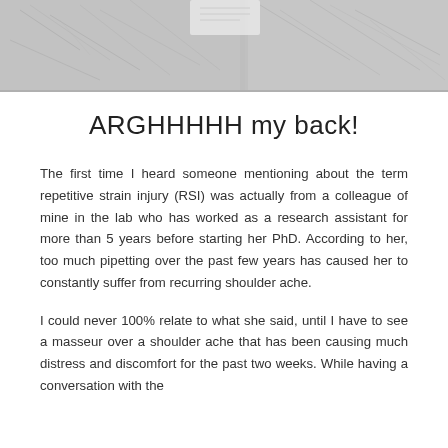[Figure (illustration): Grayscale sketch/illustration banner image at the top of the page, showing hand-drawn figures related to repetitive strain or lab work]
ARGHHHHH my back!
The first time I heard someone mentioning about the term repetitive strain injury (RSI) was actually from a colleague of mine in the lab who has worked as a research assistant for more than 5 years before starting her PhD. According to her, too much pipetting over the past few years has caused her to constantly suffer from recurring shoulder ache.
I could never 100% relate to what she said, until I have to see a masseur over a shoulder ache that has been causing much distress and discomfort for the past two weeks. While having a conversation with the